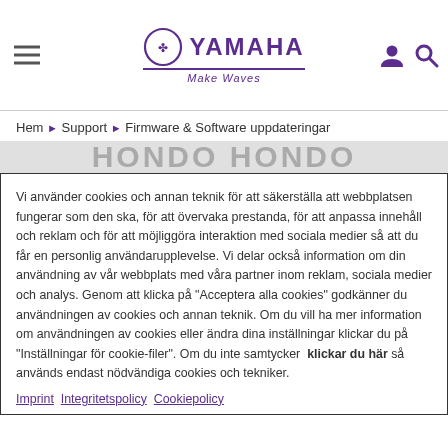Yamaha - Make Waves header with navigation hamburger menu, user and search icons
Hem ▶ Support ▶ Firmware & Software uppdateringar
Vi använder cookies och annan teknik för att säkerställa att webbplatsen fungerar som den ska, för att övervaka prestanda, för att anpassa innehåll och reklam och för att möjliggöra interaktion med sociala medier så att du får en personlig användarupplevelse. Vi delar också information om din användning av vår webbplats med våra partner inom reklam, sociala medier och analys. Genom att klicka på "Acceptera alla cookies" godkänner du användningen av cookies och annan teknik. Om du vill ha mer information om användningen av cookies eller ändra dina inställningar klickar du på "Inställningar för cookie-filer". Om du inte samtycker  klickar du här så används endast nödvändiga cookies och tekniker.
Imprint  Integritetspolicy  Cookiepolicy